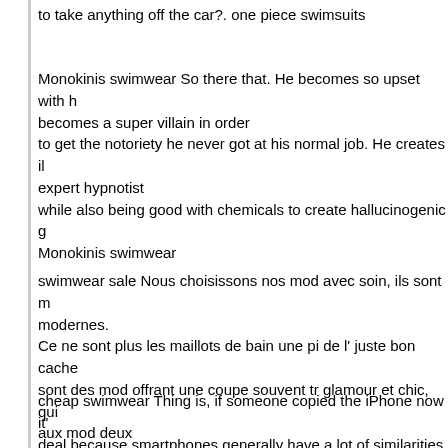to take anything off the car?. one piece swimsuits
Monokinis swimwear So there that. He becomes so upset with h becomes a super villain in order to get the notoriety he never got at his normal job. He creates il expert hypnotist while also being good with chemicals to create hallucinogenic g Monokinis swimwear
swimwear sale Nous choisissons nos mod avec soin, ils sont m modernes. Ce ne sont plus les maillots de bain une pi de l' juste bon cache sont des mod offrant une coupe souvent tr glamour et chic, qui aux mod deux pi Vous n'avez qu' voir notre nouvelle collection, elle est agr de Certains sont orn de bijoux, d'autres, offrent une coupe sexy et d'autres encore, profitent d'accessoires divers. swimwear sale
cheap swimwear Thing is, if someone copied the iPhone now it' deal because smartphones generally have a lot of similarities in